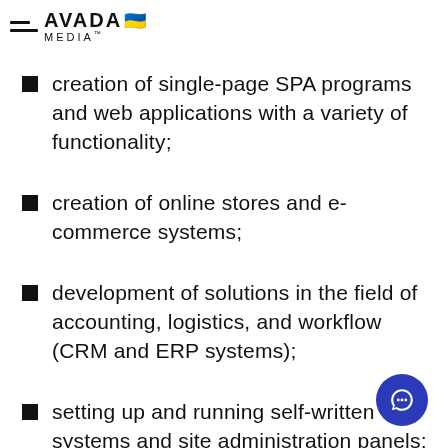AVADA MEDIA™
creation of single-page SPA programs and web applications with a variety of functionality;
creation of online stores and e-commerce systems;
development of solutions in the field of accounting, logistics, and workflow (CRM and ERP systems);
setting up and running self-written systems and site administration panels;